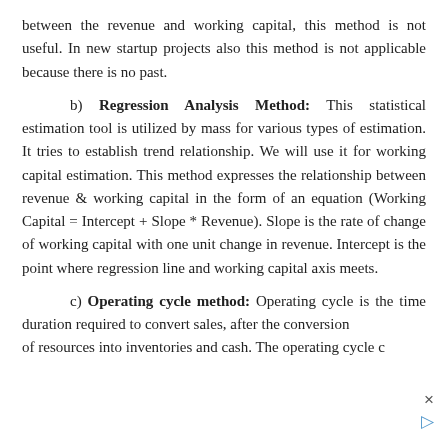between the revenue and working capital, this method is not useful. In new startup projects also this method is not applicable because there is no past.
b) Regression Analysis Method: This statistical estimation tool is utilized by mass for various types of estimation. It tries to establish trend relationship. We will use it for working capital estimation. This method expresses the relationship between revenue & working capital in the form of an equation (Working Capital = Intercept + Slope * Revenue). Slope is the rate of change of working capital with one unit change in revenue. Intercept is the point where regression line and working capital axis meets.
c) Operating cycle method: Operating cycle is the time duration required to convert sales, after the conversion of resources into inventories and cash. The operating cycle c